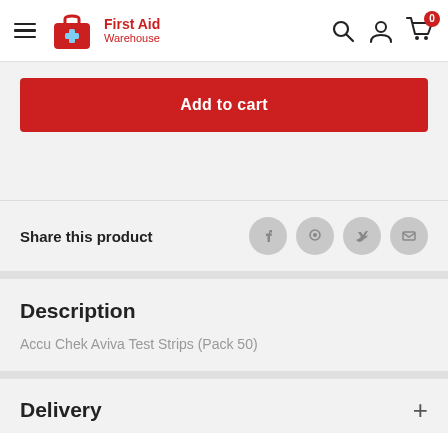First Aid Warehouse
Add to cart
Share this product
Description
Accu Chek Aviva Test Strips (Pack 50)
Delivery